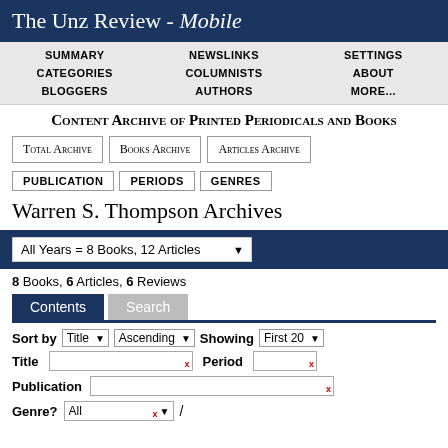The Unz Review - Mobile
SUMMARY  NEWSLINKS  SETTINGS  CATEGORIES  COLUMNISTS  ABOUT  BLOGGERS  AUTHORS  MORE...
Content Archive of Printed Periodicals and Books
Total Archive  Books Archive  Articles Archive
PUBLICATION  PERIODS  GENRES
Warren S. Thompson Archives
All Years = 8 Books, 12 Articles
8 Books, 6 Articles, 6 Reviews
Contents  Search
Sort by Title Ascending Showing First 20
Title  Period
Publication
Genre? All /